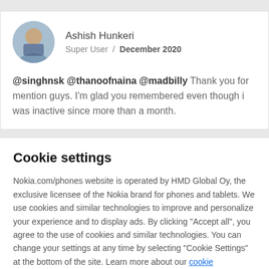[Figure (photo): User avatar photo of Ashish Hunkeri, a person sitting by water, shown in a circular crop]
Ashish Hunkeri
Super User / December 2020
@singhnsk @thanoofnaina @madbilly Thank you for mention guys. I'm glad you remembered even though i was inactive since more than a month.
Cookie settings
Nokia.com/phones website is operated by HMD Global Oy, the exclusive licensee of the Nokia brand for phones and tablets. We use cookies and similar technologies to improve and personalize your experience and to display ads. By clicking "Accept all", you agree to the use of cookies and similar technologies. You can change your settings at any time by selecting "Cookie Settings" at the bottom of the site. Learn more about our cookie
Manage preferences
Accept all